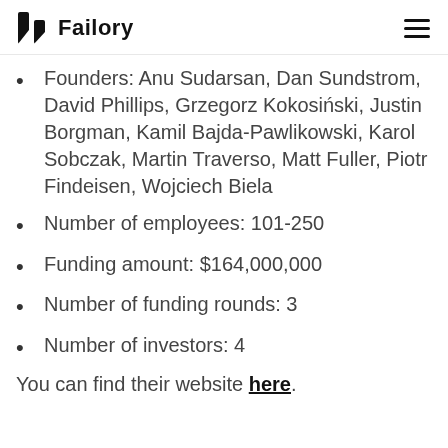Failory
Founders: Anu Sudarsan, Dan Sundstrom, David Phillips, Grzegorz Kokosiński, Justin Borgman, Kamil Bajda-Pawlikowski, Karol Sobczak, Martin Traverso, Matt Fuller, Piotr Findeisen, Wojciech Biela
Number of employees: 101-250
Funding amount: $164,000,000
Number of funding rounds: 3
Number of investors: 4
You can find their website here.